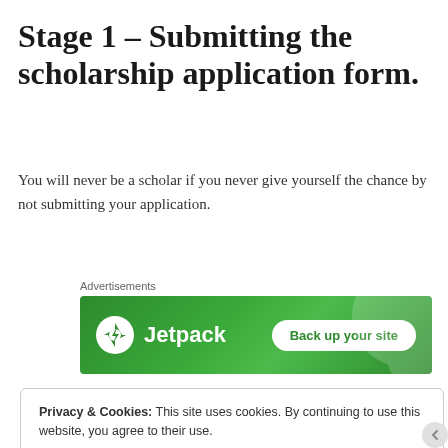Stage 1 – Submitting the scholarship application form.
You will never be a scholar if you never give yourself the chance by not submitting your application.
[Figure (other): Jetpack advertisement banner with green background showing Jetpack logo and 'Back up your site' button]
Privacy & Cookies: This site uses cookies. By continuing to use this website, you agree to their use. To find out more, including how to control cookies, see here: Cookie Policy
Close and accept